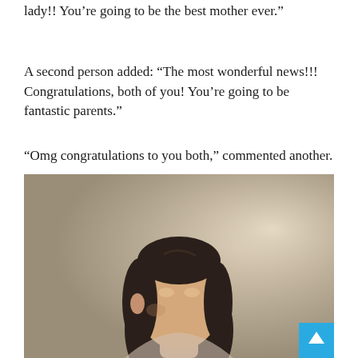lady!! You’re going to be the best mother ever.”
A second person added: “The most wonderful news!!! Congratulations, both of you! You’re going to be fantastic parents.”
“Omg congratulations to you both,” commented another.
[Figure (photo): A woman with dark hair pulled back, photographed from shoulders up against a neutral beige/taupe background with soft lighting.]